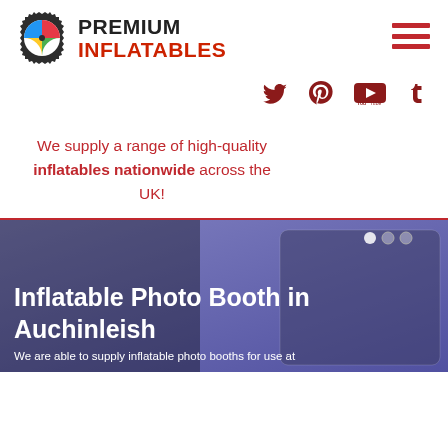[Figure (logo): Premium Inflatables logo: gear/cog icon with colorful beach ball center, next to bold text 'PREMIUM INFLATABLES' in black and red]
[Figure (infographic): Hamburger menu icon (three red horizontal lines) in top right corner]
[Figure (infographic): Social media icons row: Twitter bird, Pinterest P, YouTube logo, Tumblr t — all in dark red/maroon color]
We supply a range of high-quality inflatables nationwide across the UK!
[Figure (photo): Hero image showing an inflatable photo booth with purple/blue background, dark overlay. Text overlay reads 'Inflatable Photo Booth in Auchinleish' with subtitle 'We are able to supply inflatable photo booths for use at']